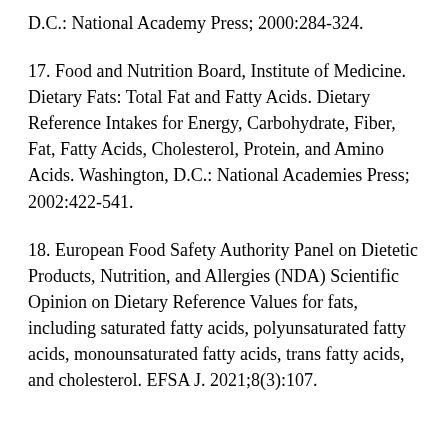D.C.: National Academy Press; 2000:284-324.
17. Food and Nutrition Board, Institute of Medicine. Dietary Fats: Total Fat and Fatty Acids. Dietary Reference Intakes for Energy, Carbohydrate, Fiber, Fat, Fatty Acids, Cholesterol, Protein, and Amino Acids. Washington, D.C.: National Academies Press; 2002:422-541.
18. European Food Safety Authority Panel on Dietetic Products, Nutrition, and Allergies (NDA) Scientific Opinion on Dietary Reference Values for fats, including saturated fatty acids, polyunsaturated fatty acids, monounsaturated fatty acids, trans fatty acids, and cholesterol. EFSA J. 2021;8(3):107.